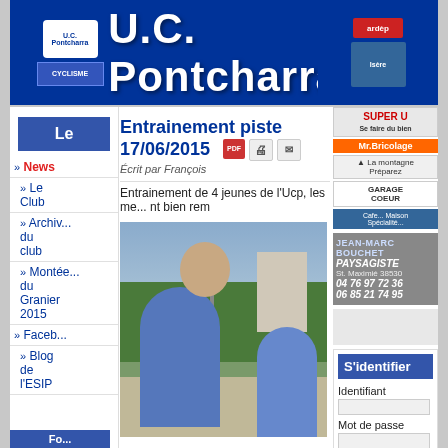U.C. Pontcharra
Le
Entrainement piste 17/06/2015
Écrit par François
Entrainement de 4 jeunes de l'Ucp, les me... nt bien rem
» News
» Le Club
» Archives du club
» Montée du Granier 2015
» Facebook
» Blog de l'ESIP
[Figure (photo): Youth cyclists in blue jerseys with trees and building in background]
SUPER U
Mr.Bricolage
JEAN-MARC BOUCHET PAYSAGISTE
St. Maximié 38530
04 76 97 72 36
06 85 21 74 95
S'identifier
Identifiant
Mot de passe
Se souvenir de m...